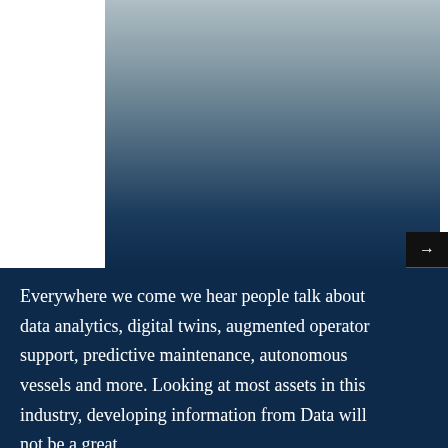[Figure (photo): Large background image with a gradient from light grey/white at top to dark navy blue at bottom, with a white panel on the left side. Appears to be a decorative header image for a maritime or technology industry document.]
Everywhere we come we hear people talk about data analytics, digital twins, augmented operator support, predictive maintenance, autonomous vessels and more. Looking at most assets in this industry, developing information from Data will not be a great